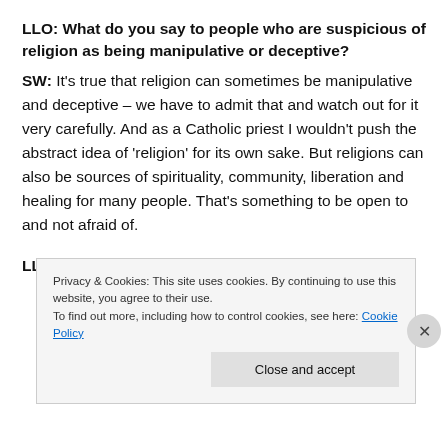LLO: What do you say to people who are suspicious of religion as being manipulative or deceptive?
SW: It's true that religion can sometimes be manipulative and deceptive – we have to admit that and watch out for it very carefully. And as a Catholic priest I wouldn't push the abstract idea of 'religion' for its own sake. But religions can also be sources of spirituality, community, liberation and healing for many people. That's something to be open to and not afraid of.
LLO: Wha... (partial, cut off by cookie banner)
Privacy & Cookies: This site uses cookies. By continuing to use this website, you agree to their use.
To find out more, including how to control cookies, see here: Cookie Policy